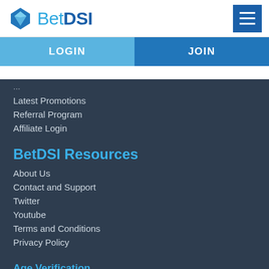[Figure (logo): BetDSI logo with diamond icon and hamburger menu button]
LOGIN | JOIN
Latest Promotions
Referral Program
Affiliate Login
BetDSI Resources
About Us
Contact and Support
Twitter
Youtube
Terms and Conditions
Privacy Policy
Age Verification
Apart from self-exclusion options, BetDSI works to ensure that the age limits for gambling are respected and all customers meet the legal gambling age of 18 years old. We carry out age verification tests to prevent minors from engaging in gambling activities.